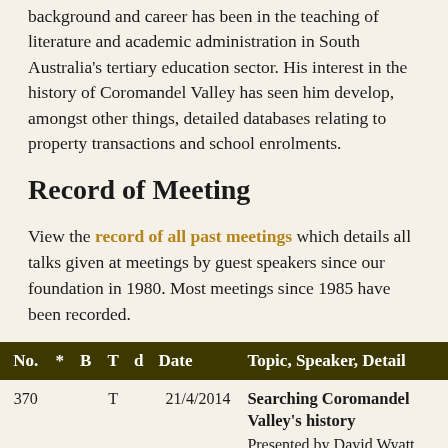background and career has been in the teaching of literature and academic administration in South Australia's tertiary education sector. His interest in the history of Coromandel Valley has seen him develop, amongst other things, detailed databases relating to property transactions and school enrolments.
Record of Meeting
View the record of all past meetings which details all talks given at meetings by guest speakers since our foundation in 1980. Most meetings since 1985 have been recorded.
| No. | * | B | T | d | Date | Topic, Speaker, Detail |
| --- | --- | --- | --- | --- | --- | --- |
| 370 |  |  | T |  | 21/4/2014 | Searching Coromandel Valley's history
Presented by David Wyatt
David's talk will present some aspects of Coromandel Valley history that prepare the way for |